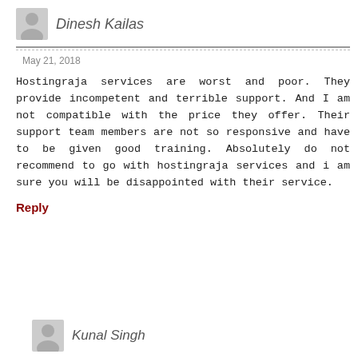Dinesh Kailas
May 21, 2018
Hostingraja services are worst and poor. They provide incompetent and terrible support. And I am not compatible with the price they offer. Their support team members are not so responsive and have to be given good training. Absolutely do not recommend to go with hostingraja services and i am sure you will be disappointed with their service.
Reply
Kunal Singh